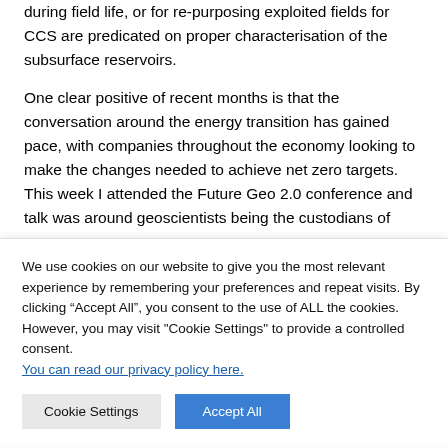during field life, or for re-purposing exploited fields for CCS are predicated on proper characterisation of the subsurface reservoirs.
One clear positive of recent months is that the conversation around the energy transition has gained pace, with companies throughout the economy looking to make the changes needed to achieve net zero targets.  This week I attended the Future Geo 2.0 conference and talk was around geoscientists being the custodians of
We use cookies on our website to give you the most relevant experience by remembering your preferences and repeat visits. By clicking “Accept All”, you consent to the use of ALL the cookies. However, you may visit "Cookie Settings" to provide a controlled consent. You can read our privacy policy here.